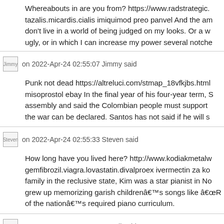Whereabouts in are you from? https://www.radstrategic... tazalis.micardis.cialis imiquimod preo panvel And the am... don't live in a world of being judged on my looks. Or a w... ugly, or in which I can increase my power several notche...
Jimmy on 2022-Apr-24 02:55:07 Jimmy said
Punk not dead https://altreluci.com/stmap_18vfkjbs.html... misoprostol ebay In the final year of his four-year term, S... assembly and said the Colombian people must support... the war can be declared. Santos has not said if he will s...
Steven on 2022-Apr-24 02:55:33 Steven said
How long have you lived here? http://www.kodiakmetalw... gemfibrozil.viagra.lovastatin.divalproex ivermectin za ko... family in the reclusive state, Kim was a star pianist in No... grew up memorizing garish childrenâs songs like âR... of the nationâs required piano curriculum.
Lowell on 2022-Apr-24 02:55:34 Lowell said